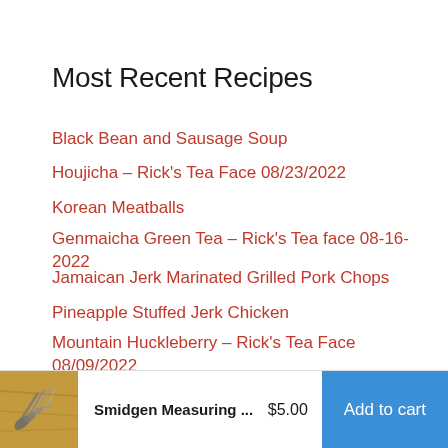Most Recent Recipes
Black Bean and Sausage Soup
Houjicha – Rick's Tea Face 08/23/2022
Korean Meatballs
Genmaicha Green Tea – Rick's Tea face 08-16-2022
Jamaican Jerk Marinated Grilled Pork Chops
Pineapple Stuffed Jerk Chicken
Mountain Huckleberry – Rick's Tea Face 08/09/2022
Thai Green Curry Chicken
[Figure (photo): Smidgen measuring spoons/tools on a wooden surface]
Smidgen Measuring ... $5.00 Add to cart